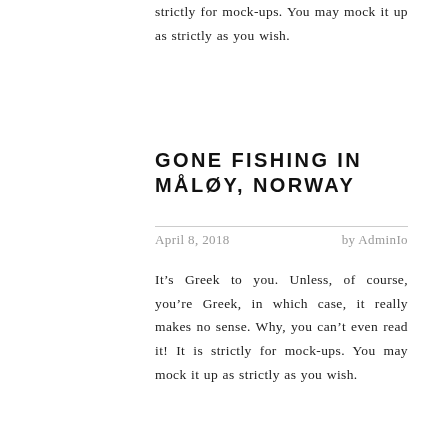strictly for mock-ups. You may mock it up as strictly as you wish.
GONE FISHING IN MÅLØY, NORWAY
April 8, 2018    by AdminIo
It’s Greek to you. Unless, of course, you’re Greek, in which case, it really makes no sense. Why, you can’t even read it! It is strictly for mock-ups. You may mock it up as strictly as you wish.